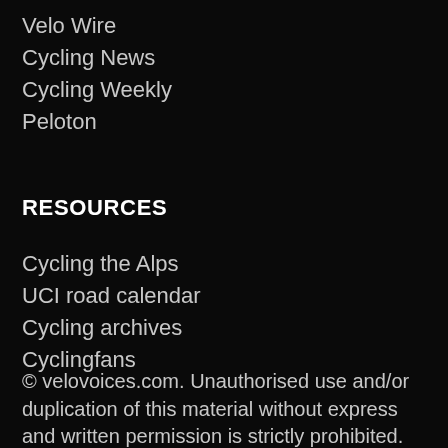Velo Wire
Cycling News
Cycling Weekly
Peloton
RESOURCES
Cycling the Alps
UCI road calendar
Cycling archives
Cyclingfans
© velovoices.com. Unauthorised use and/or duplication of this material without express and written permission is strictly prohibited. Excerpts and links may be used, provided that full and clear credit is given to the author(s) and the VeloVoices blog, with appropriate and specific direction to